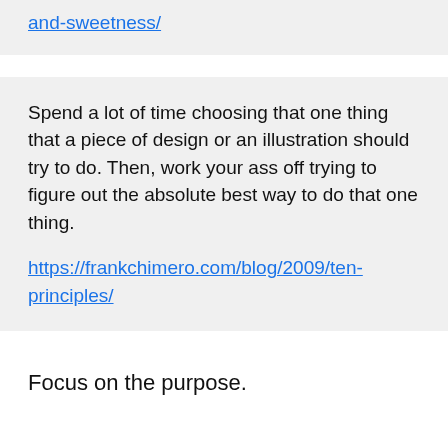and-sweetness/
Spend a lot of time choosing that one thing that a piece of design or an illustration should try to do. Then, work your ass off trying to figure out the absolute best way to do that one thing.

https://frankchimero.com/blog/2009/ten-principles/
Focus on the purpose.